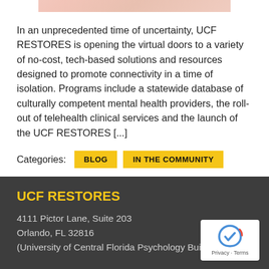[Figure (photo): Partial image showing a person, cropped at the top of the page, with warm skin tones visible]
In an unprecedented time of uncertainty, UCF RESTORES is opening the virtual doors to a variety of no-cost, tech-based solutions and resources designed to promote connectivity in a time of isolation. Programs include a statewide database of culturally competent mental health providers, the roll-out of telehealth clinical services and the launch of the UCF RESTORES [...]
Categories: BLOG IN THE COMMUNITY
UCF RESTORES
4111 Pictor Lane, Suite 203
Orlando, FL 32816
(University of Central Florida Psychology Building)